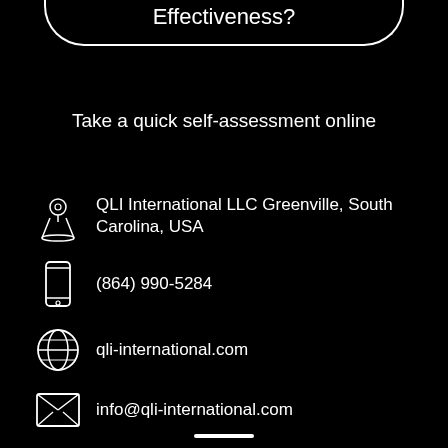Effectiveness?
Take a quick self-assessment online
QLI International LLC Greenville, South Carolina, USA
(864) 990-5284
qli-international.com
info@qli-international.com